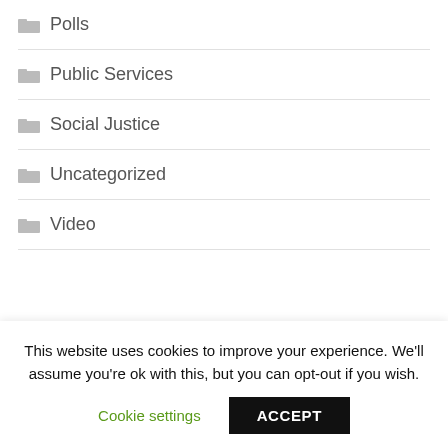Polls
Public Services
Social Justice
Uncategorized
Video
META
This website uses cookies to improve your experience. We'll assume you're ok with this, but you can opt-out if you wish.
Cookie settings  ACCEPT